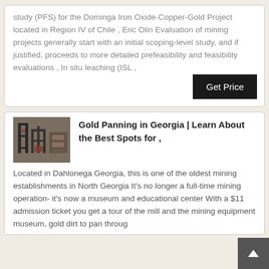study (PFS) for the Dominga Iron Oxide-Copper-Gold Project located in Region IV of Chile , Eric Olin Evaluation of mining projects generally start with an initial scoping-level study, and if justified, proceeds to more detailed prefeasibility and feasibility evaluations , In situ leaching (ISL ,
[Figure (other): Get Price button — dark black rectangular button with white text]
[Figure (photo): Industrial mining equipment / machinery photograph showing metal structures and conveyor equipment in a facility]
Gold Panning in Georgia | Learn About the Best Spots for ,
Located in Dahlonega Georgia, this is one of the oldest mining establishments in North Georgia It's no longer a full-time mining operation- it's now a museum and educational center With a $11 admission ticket you get a tour of the mill and the mining equipment museum, gold dirt to pan throug